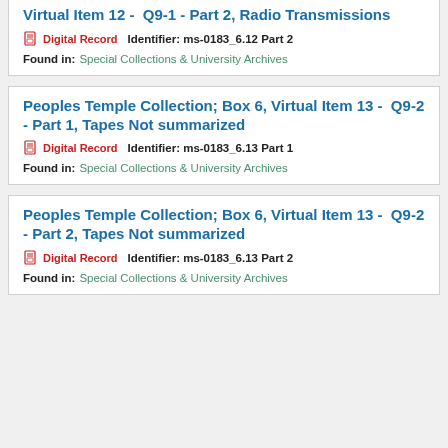Virtual Item 12 -  Q9-1 - Part 2, Radio Transmissions
Digital Record   Identifier: ms-0183_6.12 Part 2
Found in:  Special Collections & University Archives
Peoples Temple Collection; Box 6, Virtual Item 13 -  Q9-2 - Part 1, Tapes Not summarized
Digital Record   Identifier: ms-0183_6.13 Part 1
Found in:  Special Collections & University Archives
Peoples Temple Collection; Box 6, Virtual Item 13 -  Q9-2 - Part 2, Tapes Not summarized
Digital Record   Identifier: ms-0183_6.13 Part 2
Found in:  Special Collections & University Archives